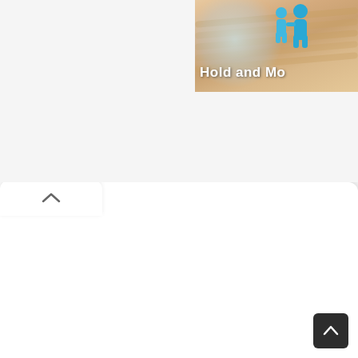[Figure (screenshot): Partial screenshot of a web page. Top-right area shows a cropped banner image with sandy/wavy background, blue cartoon human figures, and bold white text reading 'Hold and Mo' (truncated). Below is a white/light-grey panel with a rounded top-left tab containing an upward chevron arrow. The rest of the page is blank/white. Bottom-right corner has a dark square scroll-to-top button with a white upward chevron.]